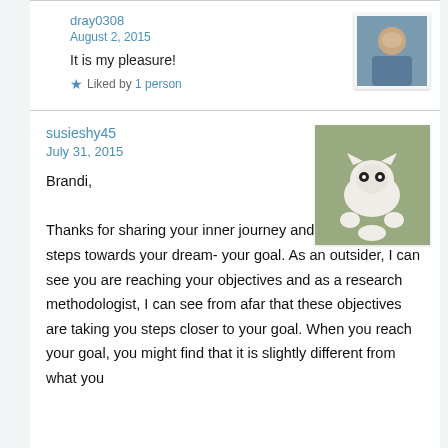dray0308
August 2, 2015
[Figure (photo): Avatar photo of dray0308, a bald man]
It is my pleasure!
Liked by 1 person
susieshy45
July 31, 2015
[Figure (photo): Avatar photo of susieshy45, a white cat lying on its back]
Brandi,
Thanks for sharing your inner journey and your outward steps towards your dream- your goal. As an outsider, I can see you are reaching your objectives and as a research methodologist, I can see from afar that these objectives are taking you steps closer to your goal. When you reach your goal, you might find that it is slightly different from what you